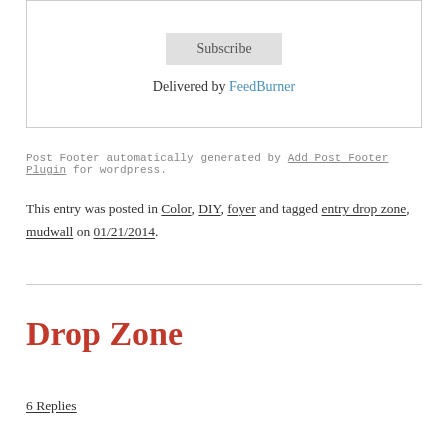Subscribe
Delivered by FeedBurner
Post Footer automatically generated by Add Post Footer Plugin for wordpress.
This entry was posted in Color, DIY, foyer and tagged entry drop zone, mudwall on 01/21/2014.
Drop Zone
6 Replies